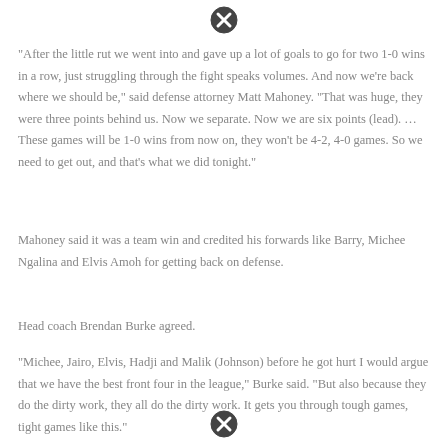[Figure (other): Circled X icon (close/stop symbol) at top center]
"After the little rut we went into and gave up a lot of goals to go for two 1-0 wins in a row, just struggling through the fight speaks volumes. And now we're back where we should be," said defense attorney Matt Mahoney. "That was huge, they were three points behind us. Now we separate. Now we are six points (lead). … These games will be 1-0 wins from now on, they won't be 4-2, 4-0 games. So we need to get out, and that's what we did tonight."
Mahoney said it was a team win and credited his forwards like Barry, Michee Ngalina and Elvis Amoh for getting back on defense.
Head coach Brendan Burke agreed.
"Michee, Jairo, Elvis, Hadji and Malik (Johnson) before he got hurt I would argue that we have the best front four in the league," Burke said. "But also because they do the dirty work, they all do the dirty work. It gets you through tough games, tight games like this."
[Figure (other): Circled X icon (close/stop symbol) at bottom center]